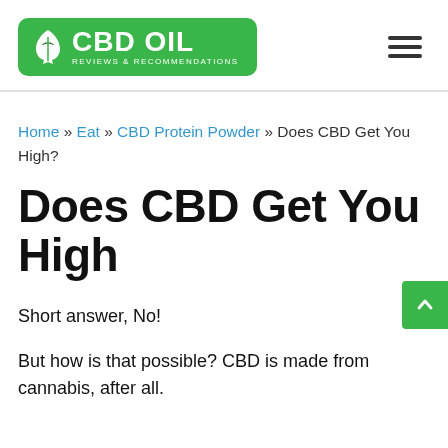CBD OIL REVIEWS & RECOMMENDATIONS
Home » Eat » CBD Protein Powder » Does CBD Get You High?
Does CBD Get You High
Short answer, No!
But how is that possible? CBD is made from cannabis, after all.